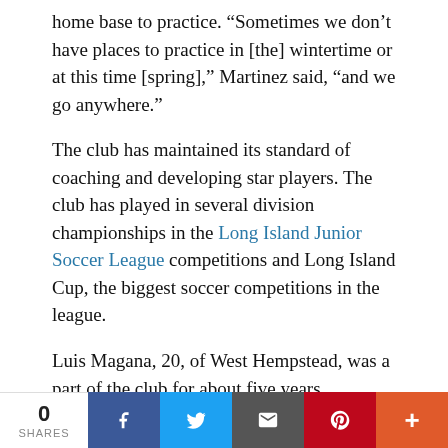home base to practice. “Sometimes we don’t have places to practice in [the] wintertime or at this time [spring],” Martinez said, “and we go anywhere.”
The club has maintained its standard of coaching and developing star players. The club has played in several division championships in the Long Island Junior Soccer League competitions and Long Island Cup, the biggest soccer competitions in the league.
Luis Magana, 20, of West Hempstead, was a part of the club for about five years throughout his middle school and high school career. He learned about the club after playing against his friend, who lived in Inwood and was in the club.
“I made a lot of memories there,” Magana said. “I
0 SHARES | Facebook | Twitter | Email | Pinterest | +